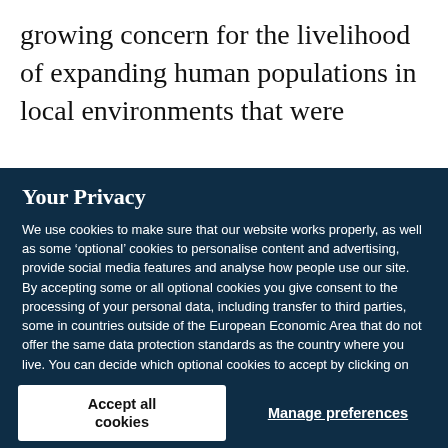growing concern for the livelihood of expanding human populations in local environments that were
Your Privacy
We use cookies to make sure that our website works properly, as well as some ‘optional’ cookies to personalise content and advertising, provide social media features and analyse how people use our site. By accepting some or all optional cookies you give consent to the processing of your personal data, including transfer to third parties, some in countries outside of the European Economic Area that do not offer the same data protection standards as the country where you live. You can decide which optional cookies to accept by clicking on ‘Manage Settings’, where you can also find more information about how your personal data is processed. Further information can be found in our privacy policy.
Accept all cookies
Manage preferences